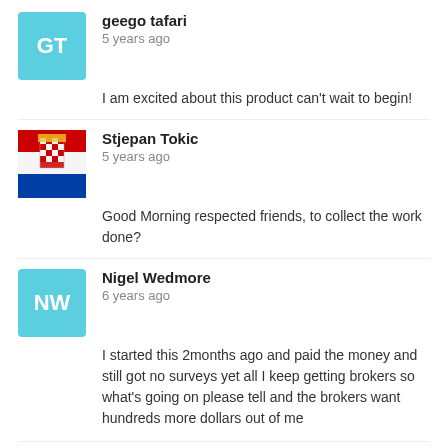[Figure (other): Avatar initials box with 'GT' in teal/cyan background]
geego tafari
5 years ago
I am excited about this product can't wait to begin!
[Figure (photo): Stjepan Tokic avatar with decorative flag/emblem image]
Stjepan Tokic
5 years ago
Good Morning respected friends, to collect the work done?
[Figure (other): Avatar initials box with 'NW' in teal/cyan background]
Nigel Wedmore
6 years ago
I started this 2months ago and paid the money and still got no surveys yet all I keep getting brokers so what's going on please tell and the brokers want hundreds more dollars out of me
Related articles
Payment guarantee
Legitimate or scam